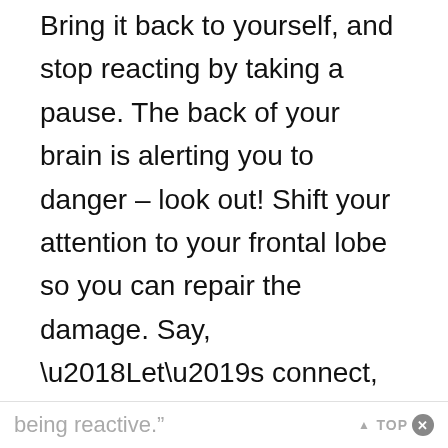Bring it back to yourself, and stop reacting by taking a pause. The back of your brain is alerting you to danger – look out! Shift your attention to your frontal lobe so you can repair the damage. Say, ‘Let’s connect, relax and maybe hold each other.’ The best part of this is that when you face and resolve the situation in the moment, it doesn’t go into the storehouse. That’s the remedy – learn how to handle things in the moment rather than just
being reactive.” ▲ TOP ✕